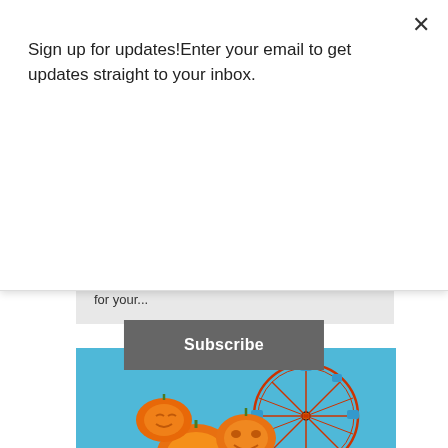Sign up for updates!Enter your email to get updates straight to your inbox.
Subscribe
for your...
[Figure (photo): Jack-o-lantern pumpkins stacked and arranged with a ferris wheel in the background at an outdoor fall festival. Orange and blue colors dominate the scene with a clear blue sky.]
KID-FRIENDLY FALL